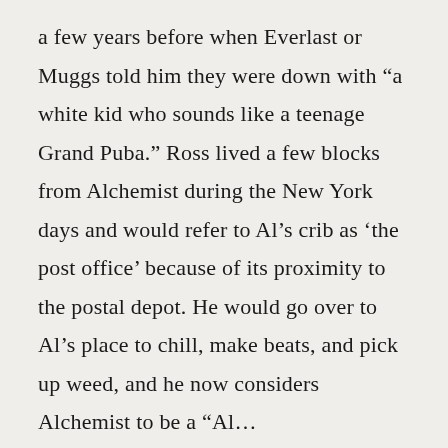a few years before when Everlast or Muggs told him they were down with “a white kid who sounds like a teenage Grand Puba.” Ross lived a few blocks from Alchemist during the New York days and would refer to Al’s crib as ‘the post office’ because of its proximity to the postal depot. He would go over to Al’s place to chill, make beats, and pick up weed, and he now considers Alchemist to be a “New York’s greatest Al…